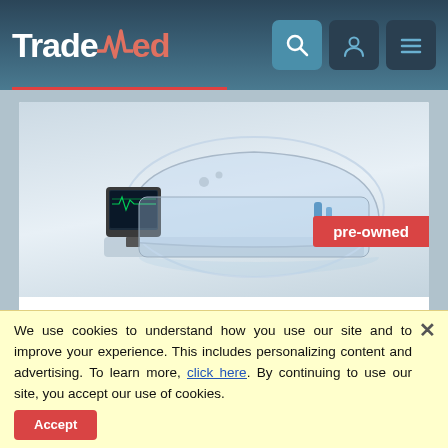TradeMed
[Figure (photo): Drager Caleo neonatal incubator with transparent hood and integrated monitor, shown on white background. A red 'pre-owned' badge is overlaid on the lower right of the image.]
Incubator
Drager Caleo
The Drager Caleo incubator provides an ideal microenvironment for neonates by delivering advanced thermoregulation parameters. It offers ease of use, intelligent accessibility, and the nurturing power of developmental care- bringing
We use cookies to understand how you use our site and to improve your experience. This includes personalizing content and advertising. To learn more, click here. By continuing to use our site, you accept our use of cookies.